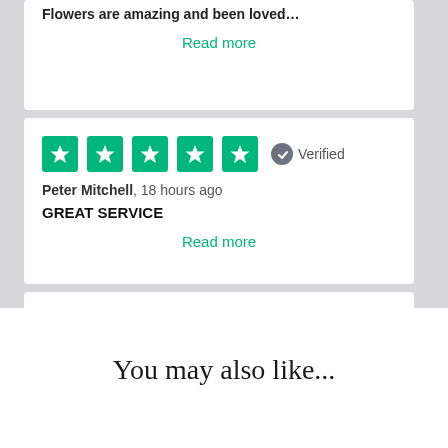Flowers are amazing and been loved…
Read more
[Figure (other): Five green star rating boxes (Trustpilot style) with Verified badge]
Peter Mitchell, 18 hours ago
GREAT SERVICE
Read more
[Figure (other): Five green star rating boxes (Trustpilot style) with Verified badge]
You may also like...